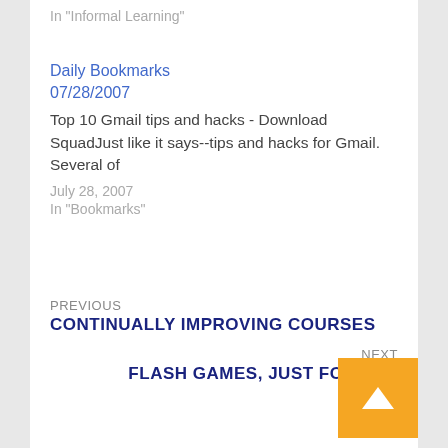In "Informal Learning"
Daily Bookmarks 07/28/2007
Top 10 Gmail tips and hacks - Download SquadJust like it says--tips and hacks for Gmail. Several of
July 28, 2007
In "Bookmarks"
PREVIOUS
CONTINUALLY IMPROVING COURSES
NEXT
FLASH GAMES, JUST FOR FUN